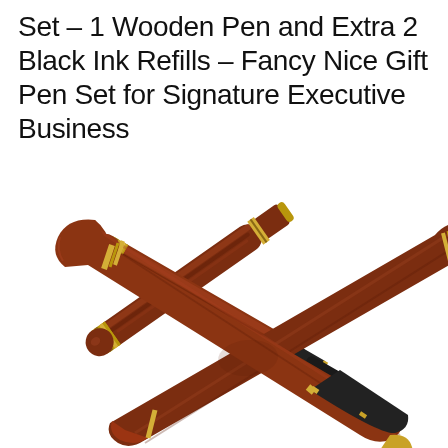Set – 1 Wooden Pen and Extra 2 Black Ink Refills – Fancy Nice Gift Pen Set for Signature Executive Business
[Figure (photo): Two wooden ballpoint pens with dark reddish-brown wood bodies and gold-tone metal accents/bands, crossed over each other on a white background. One pen shows the cap end with gold rings, the other shows the tip end with a black grip section and gold fittings.]